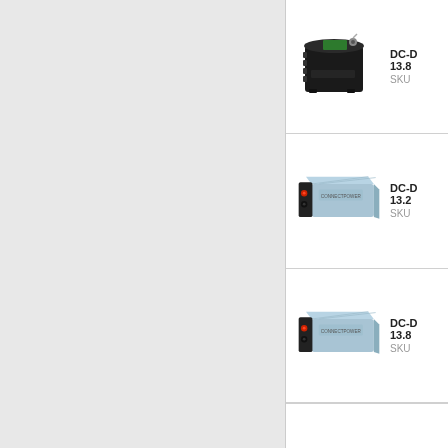[Figure (photo): Black DC-DC converter box with heat fins and green circuit board visible, with cable connectors on top]
DC-D
13.8
SKU
[Figure (photo): Light blue/silver rectangular DC-DC converter with black end cap and red/black connectors]
DC-D
13.2
SKU
[Figure (photo): Light blue/silver rectangular DC-DC converter with black end cap and red/black connectors, similar to second product]
DC-D
13.8
SKU